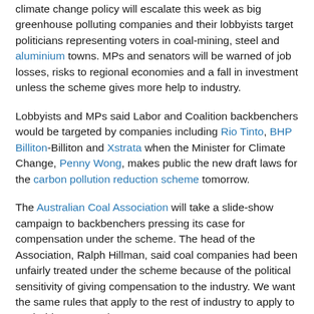climate change policy will escalate this week as big greenhouse polluting companies and their lobbyists target politicians representing voters in coal-mining, steel and aluminium towns. MPs and senators will be warned of job losses, risks to regional economies and a fall in investment unless the scheme gives more help to industry.
Lobbyists and MPs said Labor and Coalition backbenchers would be targeted by companies including Rio Tinto, BHP Billiton-Billiton and Xstrata when the Minister for Climate Change, Penny Wong, makes public the new draft laws for the carbon pollution reduction scheme tomorrow.
The Australian Coal Association will take a slide-show campaign to backbenchers pressing its case for compensation under the scheme. The head of the Association, Ralph Hillman, said coal companies had been unfairly treated under the scheme because of the political sensitivity of giving compensation to the industry. We want the same rules that apply to the rest of industry to apply to coal," his presentation argues.
The assessment of...